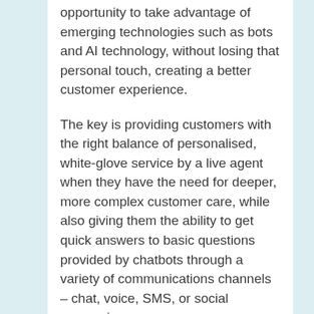opportunity to take advantage of emerging technologies such as bots and AI technology, without losing that personal touch, creating a better customer experience.
The key is providing customers with the right balance of personalised, white-glove service by a live agent when they have the need for deeper, more complex customer care, while also giving them the ability to get quick answers to basic questions provided by chatbots through a variety of communications channels – chat, voice, SMS, or social messaging.